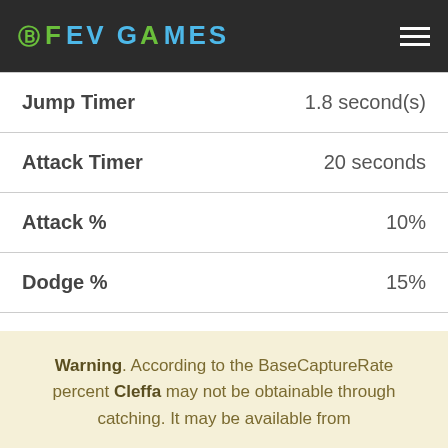FEV GAMES
| Attribute | Value |
| --- | --- |
| Jump Timer | 1.8 second(s) |
| Attack Timer | 20 seconds |
| Attack % | 10% |
| Dodge % | 15% |
| Dodge Duration | 1 second(s) |
| Dodge Distance | 1m |
Warning. According to the BaseCaptureRate percent Cleffa may not be obtainable through catching. It may be available from